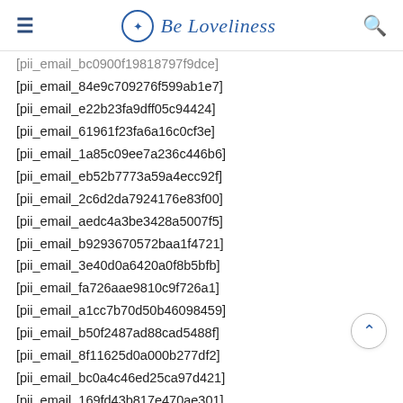Be Loveliness
[pii_email_bc0900f19818797f9dce]
[pii_email_84e9c709276f599ab1e7]
[pii_email_e22b23fa9dff05c94424]
[pii_email_61961f23fa6a16c0cf3e]
[pii_email_1a85c09ee7a236c446b6]
[pii_email_eb52b7773a59a4ecc92f]
[pii_email_2c6d2da7924176e83f00]
[pii_email_aedc4a3be3428a5007f5]
[pii_email_b9293670572baa1f4721]
[pii_email_3e40d0a6420a0f8b5bfb]
[pii_email_fa726aae9810c9f726a1]
[pii_email_a1cc7b70d50b46098459]
[pii_email_b50f2487ad88cad5488f]
[pii_email_8f11625d0a000b277df2]
[pii_email_bc0a4c46ed25ca97d421]
[pii_email_169fd43b817e470ae301]